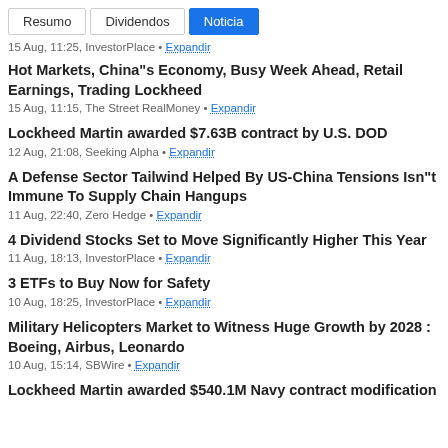Resumo | Dividendos | Noticia
15 Aug, 11:25, InvestorPlace • Expandir
Hot Markets, China"s Economy, Busy Week Ahead, Retail Earnings, Trading Lockheed
15 Aug, 11:15, The Street RealMoney • Expandir
Lockheed Martin awarded $7.63B contract by U.S. DOD
12 Aug, 21:08, Seeking Alpha • Expandir
A Defense Sector Tailwind Helped By US-China Tensions Isn"t Immune To Supply Chain Hangups
11 Aug, 22:40, Zero Hedge • Expandir
4 Dividend Stocks Set to Move Significantly Higher This Year
11 Aug, 18:13, InvestorPlace • Expandir
3 ETFs to Buy Now for Safety
10 Aug, 18:25, InvestorPlace • Expandir
Military Helicopters Market to Witness Huge Growth by 2028 : Boeing, Airbus, Leonardo
10 Aug, 15:14, SBWire • Expandir
Lockheed Martin awarded $540.1M Navy contract modification